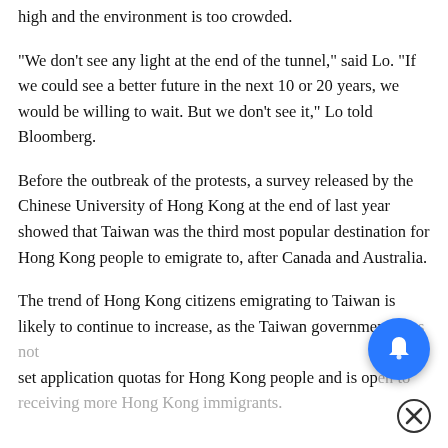high and the environment is too crowded.
"We don't see any light at the end of the tunnel," said Lo. "If we could see a better future in the next 10 or 20 years, we would be willing to wait. But we don't see it," Lo told Bloomberg.
Before the outbreak of the protests, a survey released by the Chinese University of Hong Kong at the end of last year showed that Taiwan was the third most popular destination for Hong Kong people to emigrate to, after Canada and Australia.
The trend of Hong Kong citizens emigrating to Taiwan is likely to continue to increase, as the Taiwan government do set application quotas for Hong Kong people and is op receiving more Hong Kong immigrants.